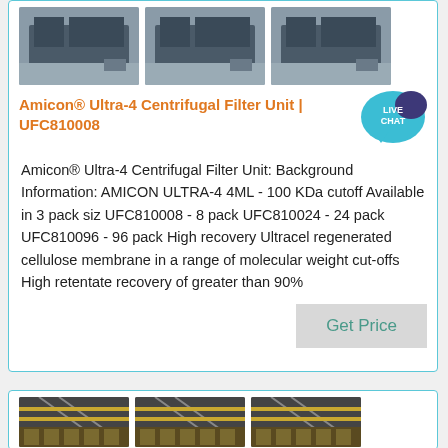[Figure (photo): Three identical product/industrial building photos shown in a row at top of card]
Amicon® Ultra-4 Centrifugal Filter Unit | UFC810008
[Figure (other): Live Chat speech bubble icon in teal/navy colors]
Amicon® Ultra-4 Centrifugal Filter Unit: Background Information: AMICON ULTRA-4 4ML - 100 KDa cutoff Available in 3 pack siz UFC810008 - 8 pack UFC810024 - 24 pack UFC810096 - 96 pack High recovery Ultracel regenerated cellulose membrane in a range of molecular weight cut-offs High retentate recovery of greater than 90%
Get Price
[Figure (photo): Three identical warehouse/industrial interior photos shown in a row at bottom second card]